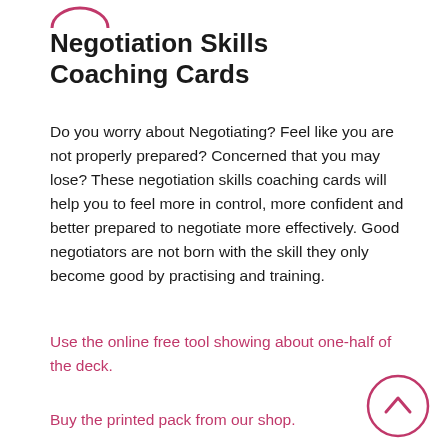[Figure (logo): Partial pink/red circular logo at the top of the page, cropped]
Negotiation Skills Coaching Cards
Do you worry about Negotiating? Feel like you are not properly prepared? Concerned that you may lose? These negotiation skills coaching cards will help you to feel more in control, more confident and better prepared to negotiate more effectively. Good negotiators are not born with the skill they only become good by practising and training.
Use the online free tool showing about one-half of the deck.
Buy the printed pack from our shop.
[Figure (illustration): Pink circular button with an upward-pointing chevron arrow, bottom right corner]